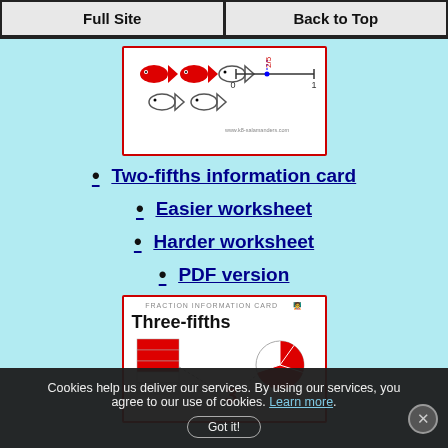Full Site | Back to Top
[Figure (illustration): Two-fifths fraction information card showing fish and a number line with marker at 2/5 between 0 and 1]
Two-fifths information card
Easier worksheet
Harder worksheet
PDF version
[Figure (illustration): Three-fifths fraction information card showing bar model, pie chart, and the number 3]
Cookies help us deliver our services. By using our services, you agree to our use of cookies. Learn more.
Got it!